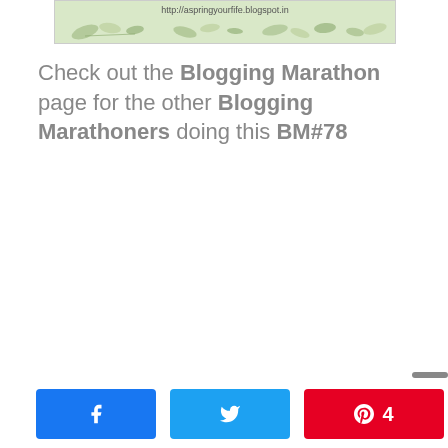[Figure (illustration): Banner image with floral/botanical decoration and a URL text 'http://aspringyourfife.blogspot.in' on a light green background]
Check out the Blogging Marathon page for the other Blogging Marathoners doing this BM#78
Facebook share button, Twitter share button, Pinterest share button with count 4, Total shares: 4 SHARES